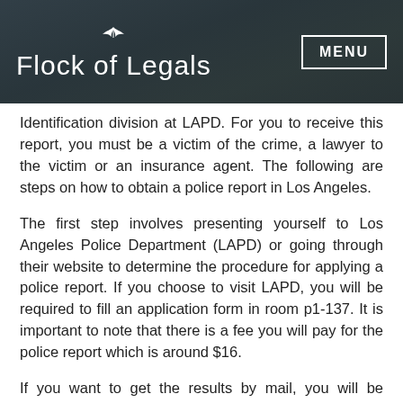Flock of Legals
Identification division at LAPD. For you to receive this report, you must be a victim of the crime, a lawyer to the victim or an insurance agent. The following are steps on how to obtain a police report in Los Angeles.
The first step involves presenting yourself to Los Angeles Police Department (LAPD) or going through their website to determine the procedure for applying a police report. If you choose to visit LAPD, you will be required to fill an application form in room p1-137. It is important to note that there is a fee you will pay for the police report which is around $16.
If you want to get the results by mail, you will be required to submit your fingerprints in s